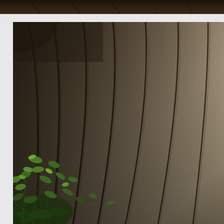[Figure (photo): Top sliver of a photograph showing a dark ceiling or roof structure with brown/dark tones.]
[Figure (photo): Main photograph showing the interior of a structure with a tan/khaki curved ceiling with dark bamboo-like vertical poles or ribs arching upward. Green leafy plants are visible in the lower-left corner.]